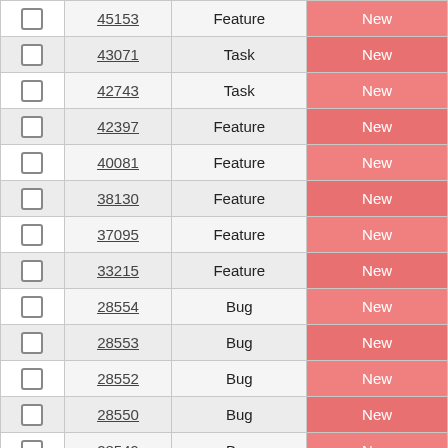|  | ID | Type | Status |
| --- | --- | --- | --- |
| ☐ | 45153 | Feature | New |
| ☐ | 43071 | Task | New |
| ☐ | 42743 | Task | New |
| ☐ | 42397 | Feature | New |
| ☐ | 40081 | Feature | New |
| ☐ | 38130 | Feature | New |
| ☐ | 37095 | Feature | New |
| ☐ | 33215 | Feature | New |
| ☐ | 28554 | Bug | New |
| ☐ | 28553 | Bug | New |
| ☐ | 28552 | Bug | New |
| ☐ | 28550 | Bug | New |
| ☐ | 28549 | Bug | New |
| ☐ | 13045 | Bug | New |
| ☐ | 9514 | Feature | New |
| ☐ | 39990 | Bug | New |